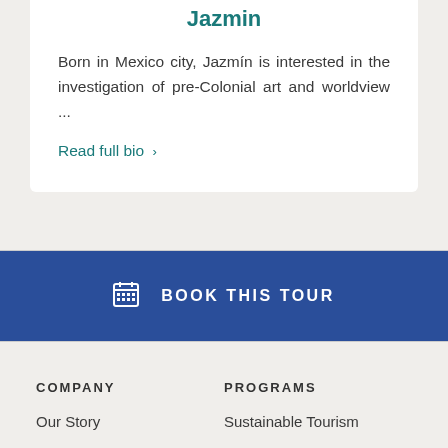Jazmin
Born in Mexico city, Jazmín is interested in the investigation of pre-Colonial art and worldview ...
Read full bio >
BOOK THIS TOUR
COMPANY
Our Story
PROGRAMS
Sustainable Tourism